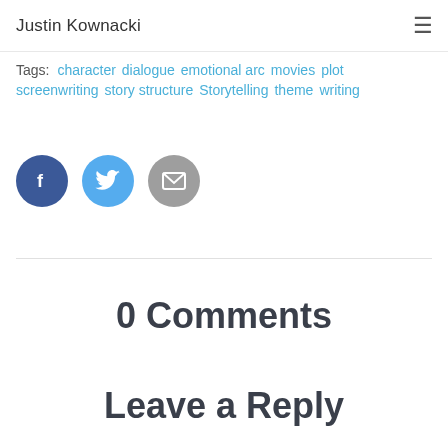Justin Kownacki
Tags: character dialogue emotional arc movies plot screenwriting story structure Storytelling theme writing
[Figure (infographic): Three circular social share buttons: Facebook (dark blue with 'f' icon), Twitter (light blue with bird icon), Email (gray with envelope icon)]
0 Comments
Leave a Reply